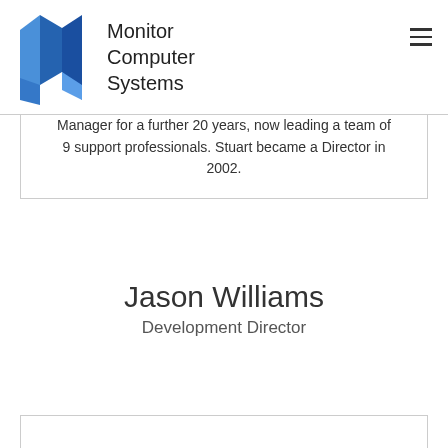Monitor Computer Systems
Manager for a further 20 years, now leading a team of 9 support professionals. Stuart became a Director in 2002.
Jason Williams
Development Director